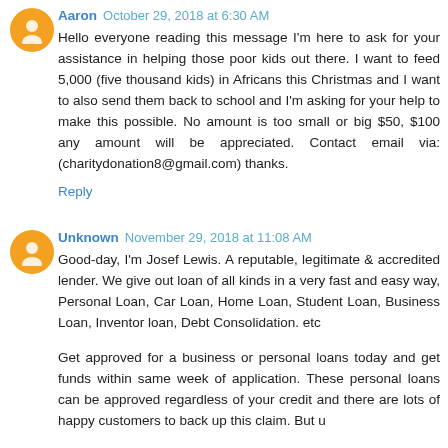Aaron October 29, 2018 at 6:30 AM
Hello everyone reading this message I'm here to ask for your assistance in helping those poor kids out there. I want to feed 5,000 (five thousand kids) in Africans this Christmas and I want to also send them back to school and I'm asking for your help to make this possible. No amount is too small or big $50, $100 any amount will be appreciated. Contact email via: (charitydonation8@gmail.com) thanks.
Reply
Unknown November 29, 2018 at 11:08 AM
Good-day, I'm Josef Lewis. A reputable, legitimate & accredited lender. We give out loan of all kinds in a very fast and easy way, Personal Loan, Car Loan, Home Loan, Student Loan, Business Loan, Inventor loan, Debt Consolidation. etc
Get approved for a business or personal loans today and get funds within same week of application. These personal loans can be approved regardless of your credit and there are lots of happy customers to back up this claim. But u